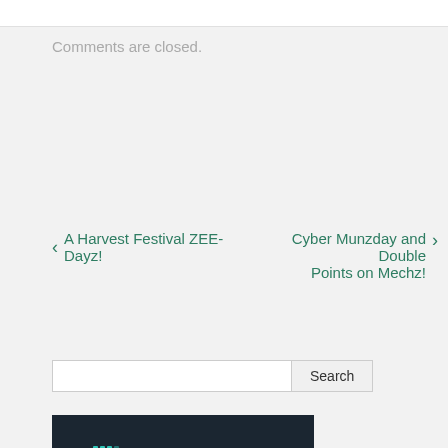Comments are closed.
‹ A Harvest Festival ZEE-Dayz!
Cyber Munzday and Double Points on Mechz! ›
Search
[Figure (illustration): Fitbit advertisement banner. Top half: dark navy background with Fitbit logo (grid of cyan dots and 'fitbit' text in white). Bottom half: teal/cyan background with white text 'Find your fit. Track your day.']